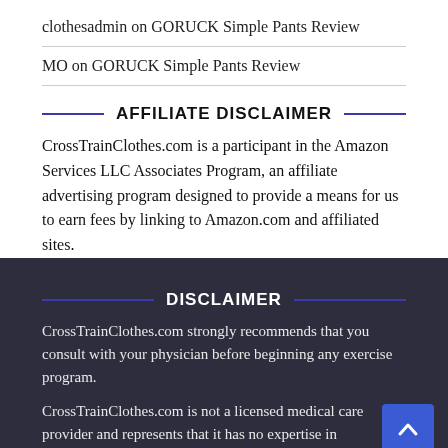clothesadmin on GORUCK Simple Pants Review
MO on GORUCK Simple Pants Review
AFFILIATE DISCLAIMER
CrossTrainClothes.com is a participant in the Amazon Services LLC Associates Program, an affiliate advertising program designed to provide a means for us to earn fees by linking to Amazon.com and affiliated sites.
DISCLAIMER
CrossTrainClothes.com strongly recommends that you consult with your physician before beginning any exercise program.
CrossTrainClothes.com is not a licensed medical care provider and represents that it has no expertise in diagnosing, examining, or treating medical conditions of any kind, or in determining the effect of any specific exercise on a medical condition.